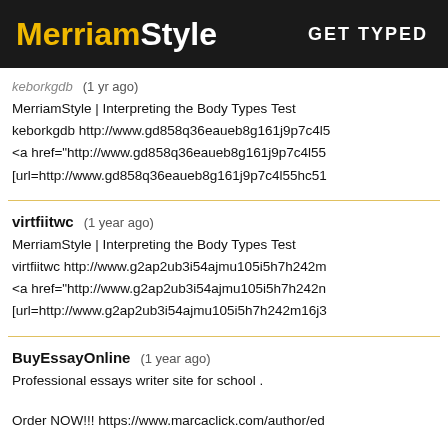MerriamStyle  GET TYPED
keborkgdb (1 yr ago)
MerriamStyle | Interpreting the Body Types Test
keborkgdb http://www.gd858q36eaueb8g161j9p7c4l5...
<a href="http://www.gd858q36eaueb8g161j9p7c4l55...
[url=http://www.gd858q36eaueb8g161j9p7c4l55hc51...
virtfiitwc (1 year ago)
MerriamStyle | Interpreting the Body Types Test
virtfiitwc http://www.g2ap2ub3i54ajmu105i5h7h242m...
<a href="http://www.g2ap2ub3i54ajmu105i5h7h242n...
[url=http://www.g2ap2ub3i54ajmu105i5h7h242m16j3...
BuyEssayOnline (1 year ago)
Professional essays writer site for school .
Order NOW!!! https://www.marcaclick.com/author/ed...
UYhjhgTDkJHVy